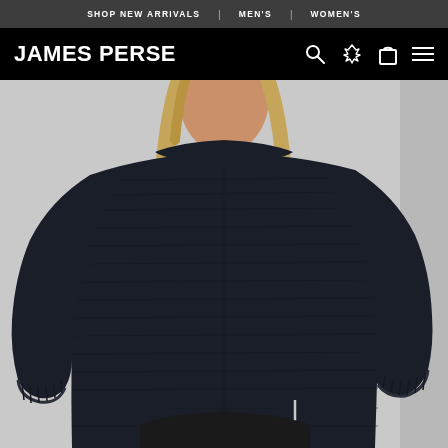SHOP NEW ARRIVALS | MEN'S | WOMEN'S
JAMES PERSE
[Figure (photo): A woman wearing a dark navy/black chunky knit boatneck sweater with long sleeves and a relaxed oversized silhouette, paired with black pants. The model is photographed from the shoulders down against a light gray background. The sweater has visible ribbed knit texture and side slits at the hem.]